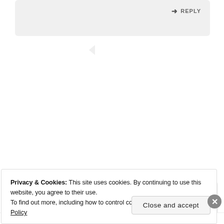REPLY
[Figure (logo): Green circular arrow/dot pattern logo (ursulascambridgegarden avatar)]
ursulascambridgegarden
Well done Jane – devotion beyond the call of duty!
Privacy & Cookies: This site uses cookies. By continuing to use this website, you agree to their use.
To find out more, including how to control cookies, see here: Cookie Policy
Close and accept